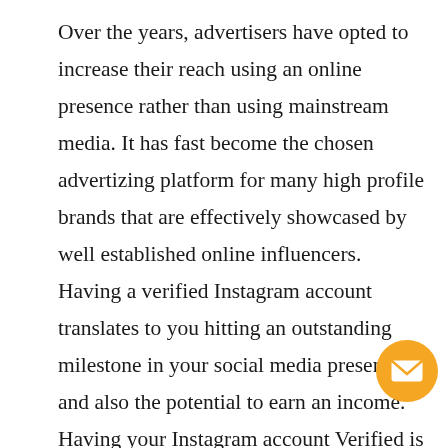Over the years, advertisers have opted to increase their reach using an online presence rather than using mainstream media. It has fast become the chosen advertizing platform for many high profile brands that are effectively showcased by well established online influencers. Having a verified Instagram account translates to you hitting an outstanding milestone in your social media presence and also the potential to earn an income. Having your Instagram account Verified is also a big move in authenticating your profile and confirming that followers are actually communicating with their intended influencer.  A Verified account also means that your account details will be shown as a top search result when surfing the web. It will appear as a preferred result on the listing which will improve viewership of the account and products. Features such as the shortcut advertising “Swip option are then accessible to the account holder as soon as
[Figure (illustration): Orange circular email/envelope icon button in the bottom-right area of the page]